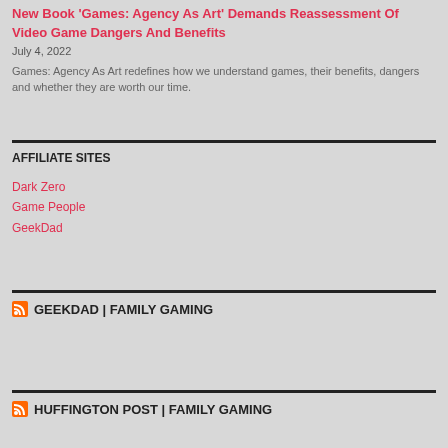New Book 'Games: Agency As Art' Demands Reassessment Of Video Game Dangers And Benefits
July 4, 2022
Games: Agency As Art redefines how we understand games, their benefits, dangers and whether they are worth our time.
AFFILIATE SITES
Dark Zero
Game People
GeekDad
GEEKDAD | FAMILY GAMING
HUFFINGTON POST | FAMILY GAMING